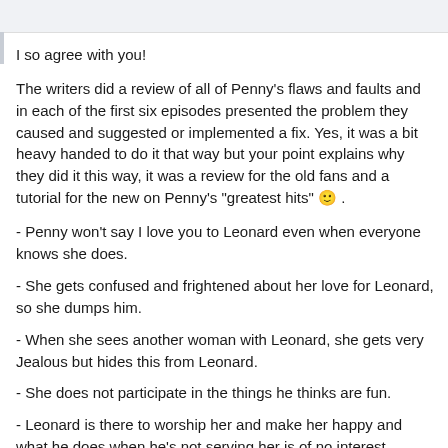I so agree with you!
The writers did a review of all of Penny's flaws and faults and in each of the first six episodes presented the problem they caused and suggested or implemented a fix. Yes, it was a bit heavy handed to do it that way but your point explains why they did it this way, it was a review for the old fans and a tutorial for the new on Penny's "greatest hits" 🙂 .
- Penny won't say I love you to Leonard even when everyone knows she does.
- She gets confused and frightened about her love for Leonard, so she dumps him.
- When she sees another woman with Leonard, she gets very Jealous but hides this from Leonard.
- She does not participate in the things he thinks are fun.
- Leonard is there to worship her and make her happy and what he does when he's not serving her is of no interest.